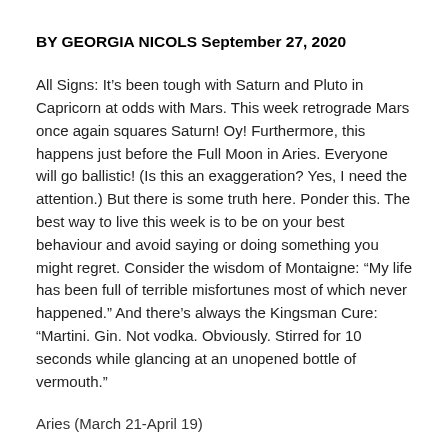BY GEORGIA NICOLS September 27, 2020
All Signs: It’s been tough with Saturn and Pluto in Capricorn at odds with Mars. This week retrograde Mars once again squares Saturn! Oy! Furthermore, this happens just before the Full Moon in Aries. Everyone will go ballistic! (Is this an exaggeration? Yes, I need the attention.) But there is some truth here. Ponder this. The best way to live this week is to be on your best behaviour and avoid saying or doing something you might regret. Consider the wisdom of Montaigne: “My life has been full of terrible misfortunes most of which never happened.” And there’s always the Kingsman Cure: “Martini. Gin. Not vodka. Obviously. Stirred for 10 seconds while glancing at an unopened bottle of vermouth.”
Aries (March 21-April 19)